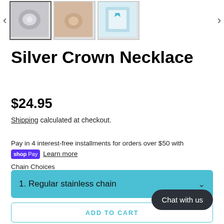[Figure (photo): E-commerce product gallery strip with left/right navigation arrows and three product thumbnail images of a silver crown necklace]
Silver Crown Necklace
$24.95
Shipping calculated at checkout.
Pay in 4 interest-free installments for orders over $50 with shop Pay Learn more
Chain Choices
1. Regular stainless chain
ADD TO CART
Chat with us